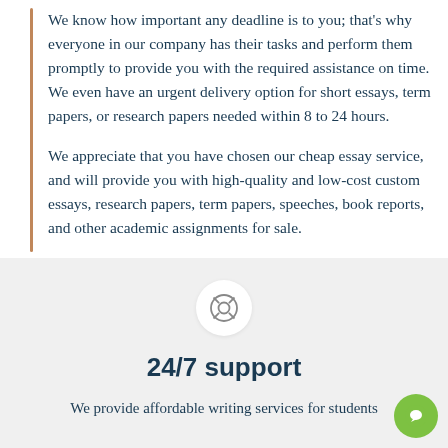We know how important any deadline is to you; that's why everyone in our company has their tasks and perform them promptly to provide you with the required assistance on time. We even have an urgent delivery option for short essays, term papers, or research papers needed within 8 to 24 hours.
We appreciate that you have chosen our cheap essay service, and will provide you with high-quality and low-cost custom essays, research papers, term papers, speeches, book reports, and other academic assignments for sale.
[Figure (illustration): A circular icon with a life preserver / support symbol inside a white circle on a light gray background]
24/7 support
We provide affordable writing services for students